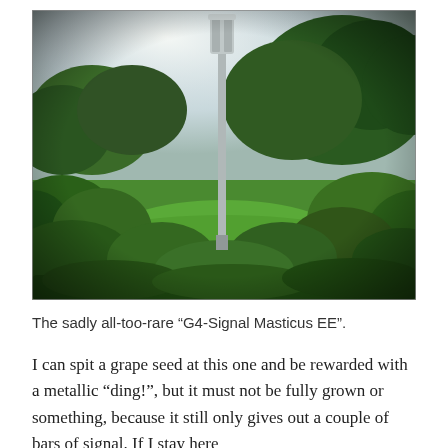[Figure (photo): Outdoor photograph of a mobile phone mast / cell tower (labeled G4-Signal Masticus EE) rising above dense green vegetation and trees, with a pale overcast sky in the background. The scene is a lush, green rural or semi-rural area.]
The sadly all-too-rare “G4-Signal Masticus EE”.
I can spit a grape seed at this one and be rewarded with a metallic “ding!”, but it must not be fully grown or something, because it still only gives out a couple of bars of signal. If I stay here